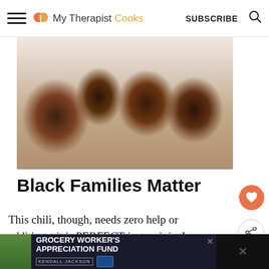My Therapist Cooks  SUBSCRIBE
[Figure (photo): Overhead view of a smiling Black family of four lying together, looking up at the camera]
Black Families Matter
This chili, though, needs zero help or additions; it is PERFECT just as it is. I made it this weekend for Jay's mom and grandmother. and was fully expecting them
[Figure (screenshot): What's Next widget: Buffalo Tofu + Celery Relish]
[Figure (infographic): Advertisement: Grocery Worker's Appreciation Fund featuring Kendall-Jackson and United Way logos]